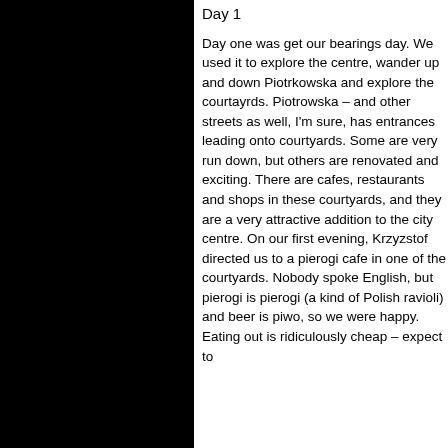Day 1
Day one was get our bearings day. We used it to explore the centre, wander up and down Piotrkowska and explore the courtayrds. Piotrowska – and other streets as well, I'm sure, has entrances leading onto courtyards. Some are very run down, but others are renovated and exciting. There are cafes, restaurants and shops in these courtyards, and they are a very attractive addition to the city centre. On our first evening, Krzyzstof directed us to a pierogi cafe in one of the courtyards. Nobody spoke English, but pierogi is pierogi (a kind of Polish ravioli) and beer is piwo, so we were happy. Eating out is ridiculously cheap – expect to